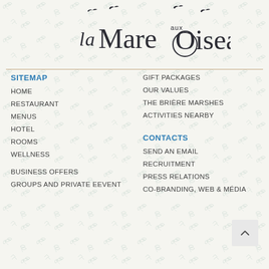[Figure (logo): La Mare aux Oiseaux logo — stylized text with bird silhouettes]
SITEMAP
HOME
RESTAURANT
MENUS
HOTEL
ROOMS
WELLNESS
BUSINESS OFFERS
GROUPS AND PRIVATE EEVENT
GIFT PACKAGES
OUR VALUES
THE BRIÈRE MARSHES
ACTIVITIES NEARBY
CONTACTS
SEND AN EMAIL
RECRUITMENT
PRESS RELATIONS
CO-BRANDING, WEB & MÉDIA